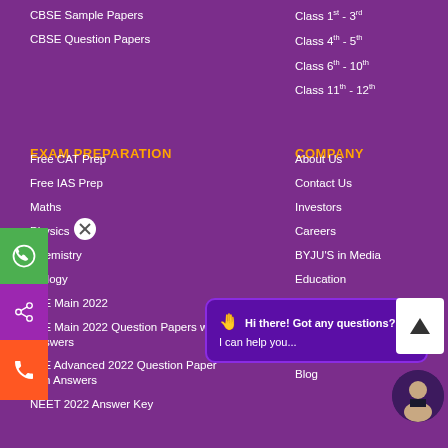CBSE Sample Papers
CBSE Question Papers
Class 1st - 3rd
Class 4th - 5th
Class 6th - 10th
Class 11th - 12th
EXAM PREPARATION
COMPANY
Free CAT Prep
Free IAS Prep
Maths
Physics
Chemistry
Biology
JEE Main 2022
JEE Main 2022 Question Papers with Answers
JEE Advanced 2022 Question Paper with Answers
NEET 2022 Answer Key
About Us
Contact Us
Investors
Careers
BYJU'S in Media
Education
BYJU'S APP
FAQ
Support
Blog